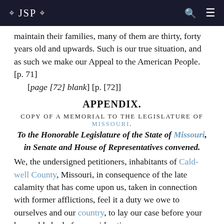JSP
maintain their families, many of them are thirty, forty years old and upwards. Such is our true situation, and as such we make our Appeal to the American People. [p. 71]
[page [72] blank] [p. [72]]
APPENDIX.
COPY OF A MEMORIAL TO THE LEGISLATURE OF MISSOURI.
To the Honorable Legislature of the State of Missouri, in Senate and House of Representatives convened.
We, the undersigned petitioners, inhabitants of Caldwell County, Missouri, in consequence of the late calamity that has come upon us, taken in connection with former afflictions, feel it a duty we owe to ourselves and our country, to lay our case before your honorable body for consideration.